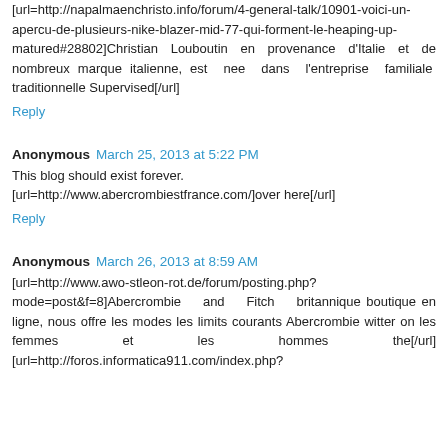[url=http://napalmaenchristo.info/forum/4-general-talk/10901-voici-un-apercu-de-plusieurs-nike-blazer-mid-77-qui-forment-le-heaping-up-matured#28802]Christian Louboutin en provenance d'Italie et de nombreux marque italienne, est nee dans l'entreprise familiale traditionnelle Supervised[/url]
Reply
Anonymous  March 25, 2013 at 5:22 PM
This blog should exist forever. [url=http://www.abercrombiestfrance.com/]over here[/url]
Reply
Anonymous  March 26, 2013 at 8:59 AM
[url=http://www.awo-stleon-rot.de/forum/posting.php?mode=post&f=8]Abercrombie and Fitch britannique boutique en ligne, nous offre les modes les limits courants Abercrombie witter on les femmes et les hommes the[/url] [url=http://foros.informatica911.com/index.php?